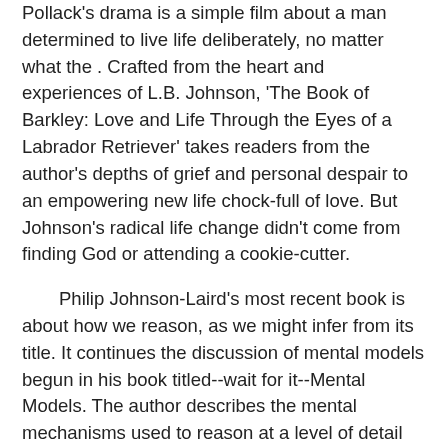Pollack's drama is a simple film about a man determined to live life deliberately, no matter what the . Crafted from the heart and experiences of L.B. Johnson, 'The Book of Barkley: Love and Life Through the Eyes of a Labrador Retriever' takes readers from the author's depths of grief and personal despair to an empowering new life chock-full of love. But Johnson's radical life change didn't come from finding God or attending a cookie-cutter.
Philip Johnson-Laird's most recent book is about how we reason, as we might infer from its title. It continues the discussion of mental models begun in his book titled--wait for it--Mental Models. The author describes the mental mechanisms used to reason at a level of detail useful to researchers in this area/5(9). Johnston's Riot Act of was an attempt by members of the royal colonial government to control and punish the Regulators, North Carolinians from the frontier counties who had revolted against them. Particularly in vast, western counties such as Orange, Rowan, and Anson, the sheriffs and other